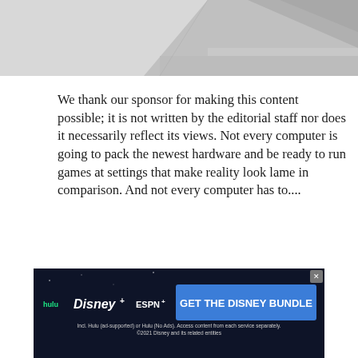[Figure (photo): Partial photo of a laptop or device, cropped at the top of the page, grayscale/silver tones]
We thank our sponsor for making this content possible; it is not written by the editorial staff nor does it necessarily reflect its views. Not every computer is going to pack the newest hardware and be ready to run games at settings that make reality look lame in comparison. And not every computer has to....
READ THE REST
[Figure (screenshot): Advertisement banner for Disney Bundle featuring Hulu, Disney+, and ESPN+ logos with text 'GET THE DISNEY BUNDLE'. Includes fine print: Incl. Hulu (ad-supported) or Hulu (No Ads). Access content from each service separately. ©2021 Disney and its related entities]